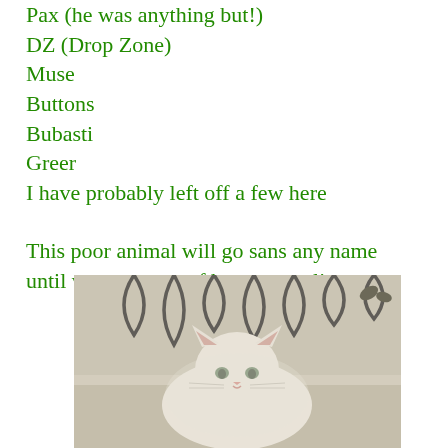Pax (he was anything but!)
DZ (Drop Zone)
Muse
Buttons
Bubasti
Greer
I have probably left off a few here
This poor animal will go sans any name until we see more of her personality.
[Figure (photo): A white cat resting, photographed in a vintage/faded style with a decorative iron fence or headboard visible in the background]